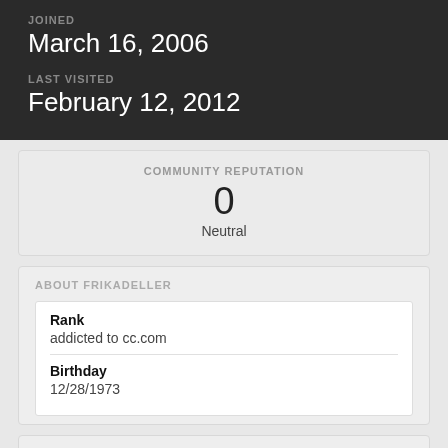JOINED
March 16, 2006
LAST VISITED
February 12, 2012
COMMUNITY REPUTATION
0
Neutral
ABOUT FRIKADELLER
| Rank | addicted to cc.com |
| Birthday | 12/28/1973 |
CONVERTED
| Occupation | I fix furnaces and air conditioners |